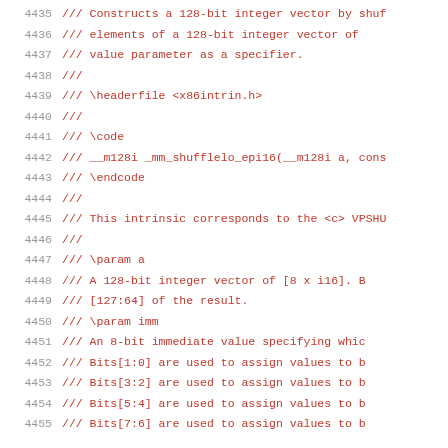4435  /// Constructs a 128-bit integer vector by shuf
4436  ///     elements of a 128-bit integer vector of
4437  ///     value parameter as a specifier.
4438  ///
4439  /// \headerfile <x86intrin.h>
4440  ///
4441  /// \code
4442  /// __m128i _mm_shufflelo_epi16(__m128i a, cons
4443  /// \endcode
4444  ///
4445  /// This intrinsic corresponds to the <c> VPSHU
4446  ///
4447  /// \param a
4448  ///     A 128-bit integer vector of [8 x i16]. B
4449  ///     [127:64] of the result.
4450  /// \param imm
4451  ///     An 8-bit immediate value specifying whic
4452  ///     Bits[1:0] are used to assign values to b
4453  ///     Bits[3:2] are used to assign values to b
4454  ///     Bits[5:4] are used to assign values to b
4455  ///     Bits[7:6] are used to assign values to b